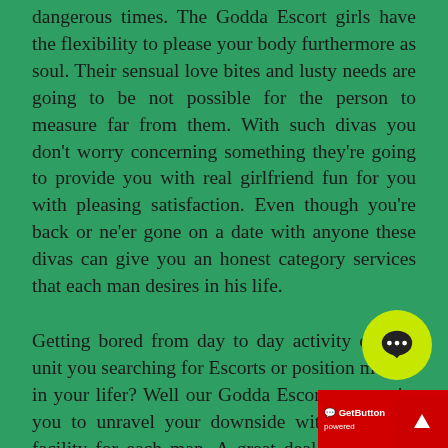dangerous times. The Godda Escort girls have the flexibility to please your body furthermore as soul. Their sensual love bites and lusty needs are going to be not possible for the person to measure far from them. With such divas you don't worry concerning something they're going to provide you with real girlfriend fun for you with pleasing satisfaction. Even though you're back or ne'er gone on a date with anyone these divas can give you an honest category services that each man desires in his life.
Getting bored from day to day activity or area unit you searching for Escorts or position models in your lifer? Well our Godda Escorts can assist you to unravel your downside with a relaxed facility for each man. A great deal of facilities provided by Godda Escorts girls to supply love creating session in day to day lifetime of each men. Our aim is to satisfy the requirement and we area unit caring in nature. We have a tendency to